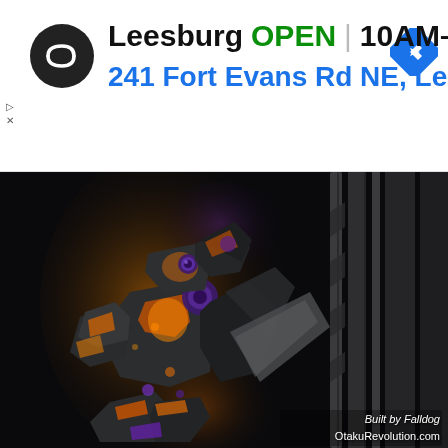Leesburg  OPEN | 10AM–7PM
241 Fort Evans Rd NE, Lee...
[Figure (photo): A dark Gundam/mecha model figure with orange glowing accent lights and purple details, photographed against a black background. The figure appears to be a custom-built model with a large structured background element. Watermark reads 'Built by Falldog OtakuRevolution.com']